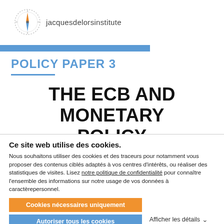[Figure (logo): Jacques Delors Institute logo: compass rose circle with orange and blue needle, beside the text 'jacquesdelorsinstitute']
POLICY PAPER 3
THE ECB AND MONETARY POLICY
Ce site web utilise des cookies.
Nous souhaitons utiliser des cookies et des traceurs pour notamment vous proposer des contenus ciblés adaptés à vos centres d'intérêts, ou réaliser des statistiques de visites. Lisez notre politique de confidentialité pour connaître l'ensemble des informations sur notre usage de vos données à caractèrepersonnel.
Cookies nécessaires uniquement
Autoriser tous les cookies
Afficher les détails